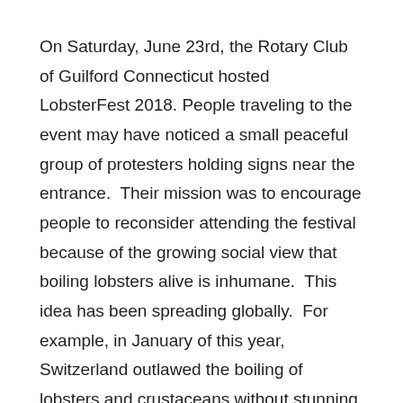On Saturday, June 23rd, the Rotary Club of Guilford Connecticut hosted LobsterFest 2018. People traveling to the event may have noticed a small peaceful group of protesters holding signs near the entrance.  Their mission was to encourage people to reconsider attending the festival because of the growing social view that boiling lobsters alive is inhumane.  This idea has been spreading globally.  For example, in January of this year, Switzerland outlawed the boiling of lobsters and crustaceans without stunning and/or killing them first.
At the heart of this debate is whether or not lobsters feel pain.  Unfortunately, there is no decisive answer because scientists have come up with results to support both sides. The single fact is everyone has